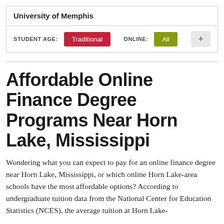University of Memphis
STUDENT AGE: Traditional   ONLINE: All
Affordable Online Finance Degree Programs Near Horn Lake, Mississippi
Wondering what you can expect to pay for an online finance degree near Horn Lake, Mississippi, or which online Horn Lake-area schools have the most affordable options? According to undergraduate tuition data from the National Center for Education Statistics (NCES), the average tuition at Horn Lake-